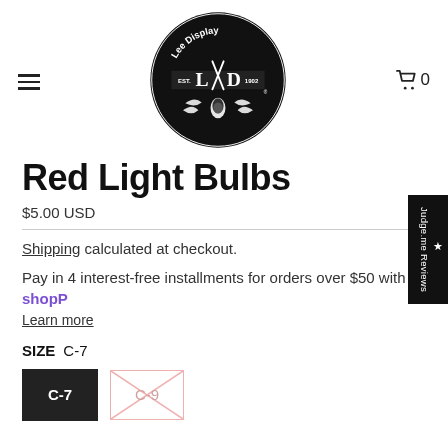Lee Display EST. 1902 — navigation header with logo, hamburger menu, and cart
Red Light Bulbs
$5.00 USD
Shipping calculated at checkout.
Pay in 4 interest-free installments for orders over $50 with Shop Pay
Learn more
SIZE  C-7
C-7 (selected), C-9 (unavailable)